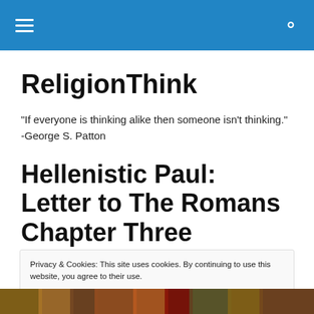ReligionThink navigation bar
ReligionThink
"If everyone is thinking alike then someone isn't thinking." -George S. Patton
Hellenistic Paul: Letter to The Romans Chapter Three
Privacy & Cookies: This site uses cookies. By continuing to use this website, you agree to their use. To find out more, including how to control cookies, see here: Cookie Policy
[Figure (photo): Bottom strip showing a classical/Renaissance style painting with robed figures]